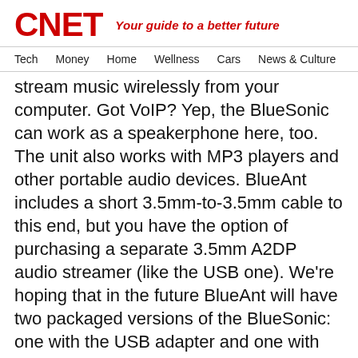CNET — Your guide to a better future
Tech  Money  Home  Wellness  Cars  News & Culture
stream music wirelessly from your computer. Got VoIP? Yep, the BlueSonic can work as a speakerphone here, too. The unit also works with MP3 players and other portable audio devices. BlueAnt includes a short 3.5mm-to-3.5mm cable to this end, but you have the option of purchasing a separate 3.5mm A2DP audio streamer (like the USB one). We're hoping that in the future BlueAnt will have two packaged versions of the BlueSonic: one with the USB adapter and one with the 3.5mm adapter.